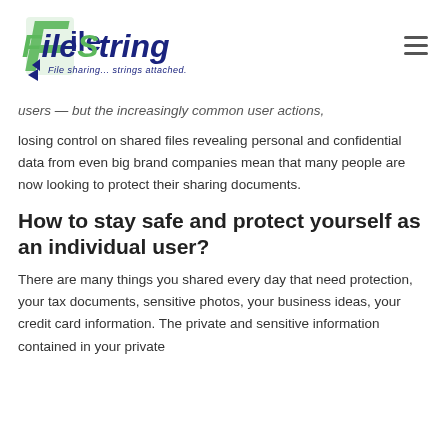[Figure (logo): FileString logo — green F icon with blue 'FileString' text and tagline 'File sharing... strings attached.']
users – but the increasingly common user actions, losing control on shared files revealing personal and confidential data from even big brand companies mean that many people are now looking to protect their sharing documents.
How to stay safe and protect yourself as an individual user?
There are many things you shared every day that need protection, your tax documents, sensitive photos, your business ideas, your credit card information. The private and sensitive information contained in your private